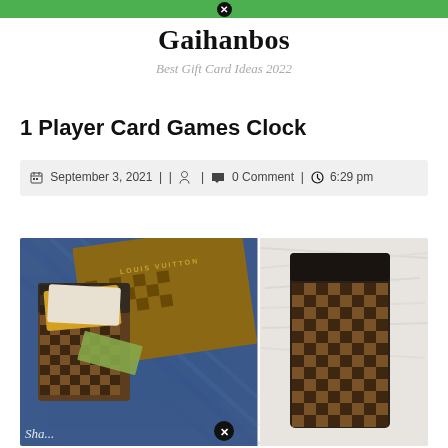Gaihanbos — Best Gift Card Ideas 2022 (site header with green navigation bar)
Gaihanbos
Best Gift Card Ideas 2022
1 Player Card Games Clock
September 3, 2021 | | [user icon] | [comment icon] 0 Comment | [clock icon] 6:29 pm
[Figure (photo): Two Louis Vuitton Damier Ebene card holders — left photo shows wallet in a jeans pocket with cards inserted and a Louis Vuitton box in background; right photo shows the card holder flat on a white fur background]